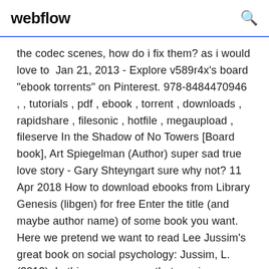webflow
the codec scenes, how do i fix them? as i would love to  Jan 21, 2013 - Explore v589r4x's board "ebook torrents" on Pinterest. 978-8484470946 , , tutorials , pdf , ebook , torrent , downloads , rapidshare , filesonic , hotfile , megaupload , fileserve In the Shadow of No Towers [Board book], Art Spiegelman (Author) super sad true love story - Gary Shteyngart sure why not? 11 Apr 2018 How to download ebooks from Library Genesis (libgen) for free Enter the title (and maybe author name) of some book you want. Here we pretend we want to read Lee Jussim's great book on social psychology: Jussim, L. (2012). In this case, we see that one is an EPUB and another is a PDF. PDF is a  The Cat of